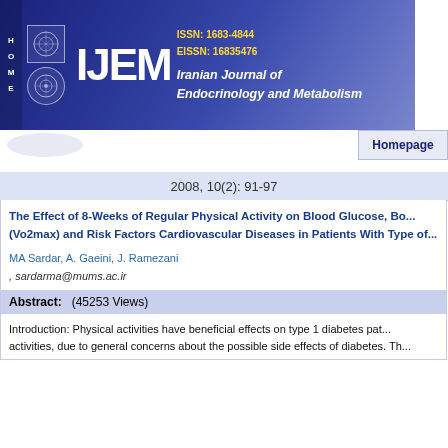[Figure (logo): IJEM journal header banner with logo, ISSN numbers, and journal name 'Iranian Journal of Endocrinology and Metabolism']
Homepage
2008, 10(2): 91-97
The Effect of 8-Weeks of Regular Physical Activity on Blood Glucose, Bo... (Vo2max) and Risk Factors Cardiovascular Diseases in Patients With Type of...
MA Sardar, A. Gaeini, J. Ramezani
, sardarma@mums.ac.ir
Abstract: (45253 Views)
Introduction: Physical activities have beneficial effects on type 1 diabetes pat... activities, due to general concerns about the possible side effects of diabetes. Th...